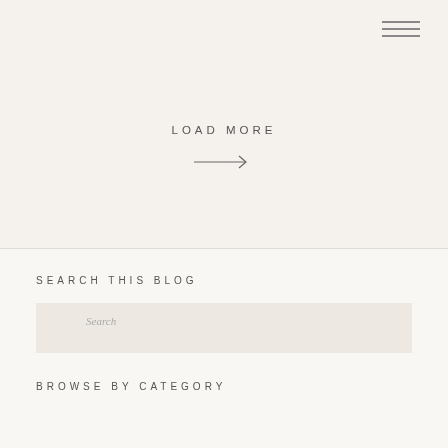[Figure (other): Hamburger menu icon with three horizontal lines in top right corner]
LOAD MORE
[Figure (other): Right-pointing arrow icon]
SEARCH THIS BLOG
Search
BROWSE BY CATEGORY